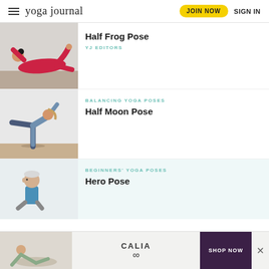yoga journal | JOIN NOW | SIGN IN
[Figure (photo): Woman in red yoga outfit performing Half Frog Pose lying on floor]
Half Frog Pose
YJ EDITORS
[Figure (photo): Woman performing Half Moon Pose balancing on one leg with arm raised]
BALANCING YOGA POSES
Half Moon Pose
[Figure (photo): Older man sitting in Hero Pose yoga position]
BEGINNERS' YOGA POSES
Hero Pose
[Figure (photo): CALIA advertisement with woman in yoga pose and SHOP NOW button]